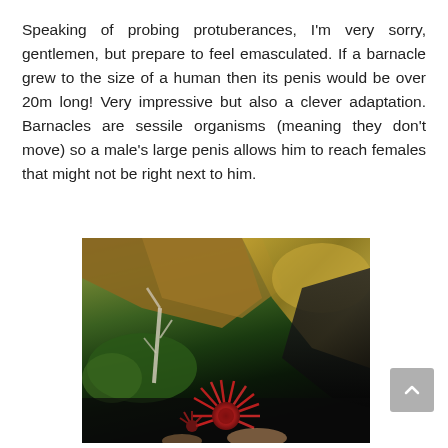Speaking of probing protuberances, I'm very sorry, gentlemen, but prepare to feel emasculated. If a barnacle grew to the size of a human then its penis would be over 20m long! Very impressive but also a clever adaptation. Barnacles are sessile organisms (meaning they don't move) so a male's large penis allows him to reach females that might not be right next to him.
[Figure (photo): Underwater photograph showing marine organisms including a red sea anemone or urchin at the bottom, green algae, rocky substrate with yellow-brown coloring, dark shadowed areas, and white branching structures resembling coral or worm tubes.]